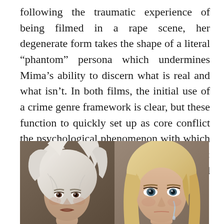following the traumatic experience of being filmed in a rape scene, her degenerate form takes the shape of a literal “phantom” persona which undermines Mima’s ability to discern what is real and what isn’t. In both films, the initial use of a crime genre framework is clear, but these function to quickly set up as core conflict the psychological phenomenon with which these films are mainly concerned: exploring the protagonist’s fragmented identity.
[Figure (photo): Two side-by-side photos. Left: a woman with disheveled white/platinum blonde hair looking distressed. Right: a woman with smooth blonde hair with a tear on her cheek.]